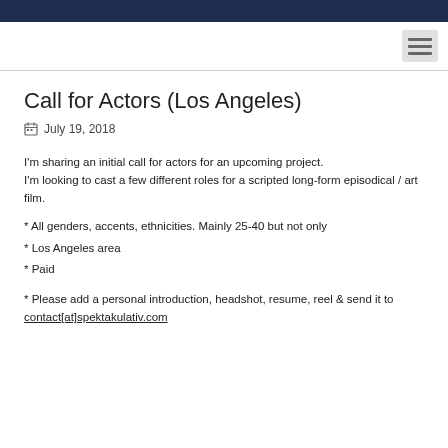Call for Actors (Los Angeles)
July 19, 2018
I'm sharing an initial call for actors for an upcoming project.
I'm looking to cast a few different roles for a scripted long-form episodical / art film.
* All genders, accents, ethnicities. Mainly 25-40 but not only
* Los Angeles area
* Paid
* Please add a personal introduction, headshot, resume, reel & send it to contact[at]spektakulativ.com